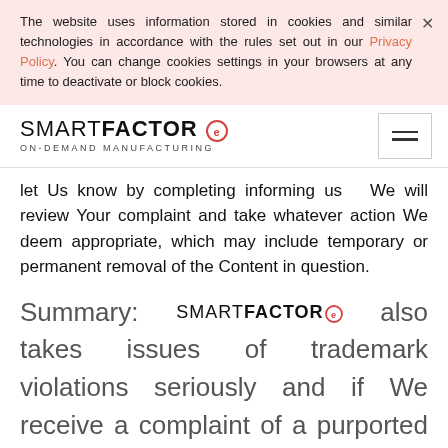The website uses information stored in cookies and similar technologies in accordance with the rules set out in our Privacy Policy. You can change cookies settings in your browsers at any time to deactivate or block cookies.
[Figure (logo): SmartFactore On-Demand Manufacturing logo with hamburger menu icon]
let Us know by completing informing us  We will review Your complaint and take whatever action We deem appropriate, which may include temporary or permanent removal of the Content in question.
Summary: SMARTFACTORE also takes issues of trademark violations seriously and if We receive a complaint of a purported trademark violation, We will investigate and may remove potentially infringing content.